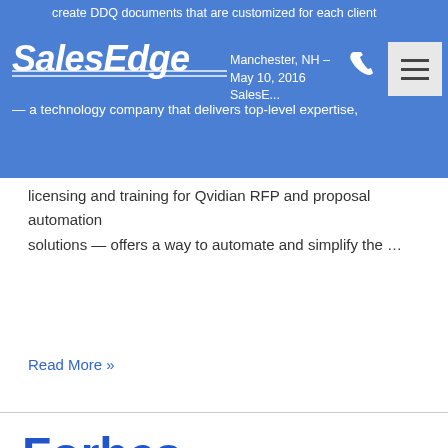create DDQ documents that are customized for each client
Manchester, NH – May 10, 2016 SalesEdge — a technology company that delivers top-level expertise, licensing and training for Qvidian RFP and proposal automation solutions — offers a way to automate and simplify the …
Read More »
Forbes Recognizes SalesEdge CEO as a Women Business Leader in New